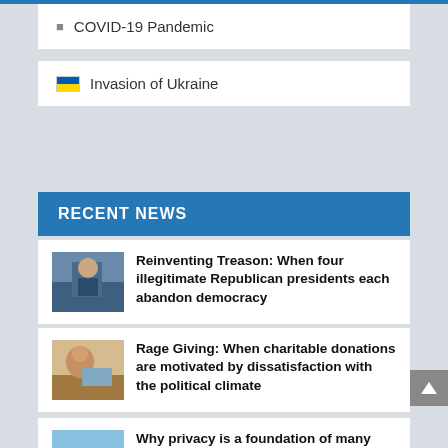COVID-19 Pandemic
Invasion of Ukraine
RECENT NEWS
[Figure (photo): Person at a desk with microphone]
Reinventing Treason: When four illegitimate Republican presidents each abandon democracy
[Figure (photo): Child looking at a laptop screen]
Rage Giving: When charitable donations are motivated by dissatisfaction with the political climate
[Figure (photo): Building exterior with sky background]
Why privacy is a foundation of many constitutional protections but not mentioned in the Constitution